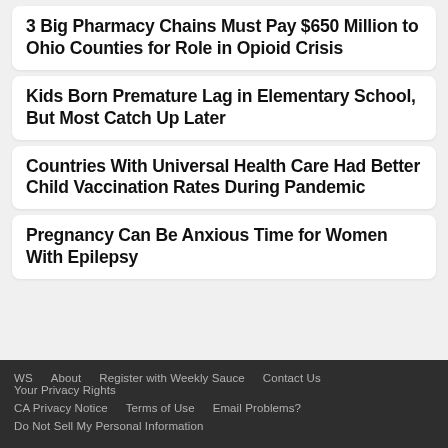3 Big Pharmacy Chains Must Pay $650 Million to Ohio Counties for Role in Opioid Crisis
Kids Born Premature Lag in Elementary School, But Most Catch Up Later
Countries With Universal Health Care Had Better Child Vaccination Rates During Pandemic
Pregnancy Can Be Anxious Time for Women With Epilepsy
WS   About   Register with Weekly Sauce   Contact Us   Your Privacy Rights   CA Privacy Notice   Terms of Use   Email Problems?   Do Not Sell My Personal Information